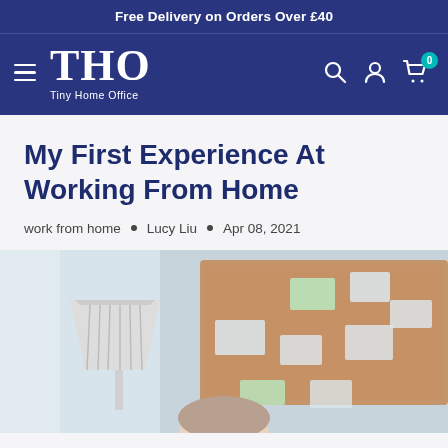Free Delivery on Orders Over £40
[Figure (logo): THO Tiny Home Office navigation bar with hamburger menu, logo, search, account, and cart icons]
My First Experience At Working From Home
work from home • Lucy Liu • Apr 08, 2021
[Figure (photo): Person at home office desk with a desk lamp and corkboard with sticky notes in the background]